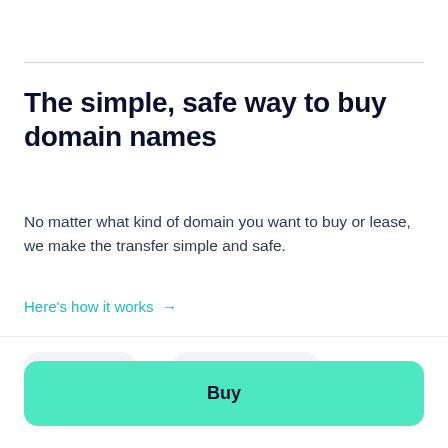The simple, safe way to buy domain names
No matter what kind of domain you want to buy or lease, we make the transfer simple and safe.
Here's how it works →
$12,500 or $1,042 /month
Buy